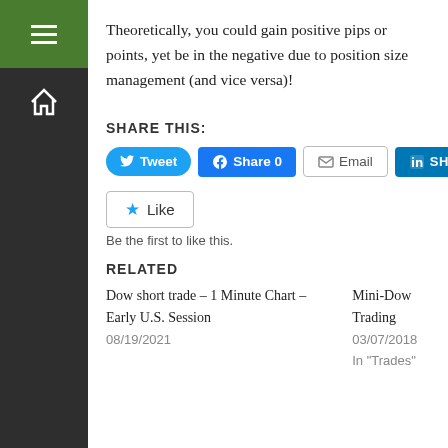Theoretically, you could gain positive pips or points, yet be in the negative due to position size management (and vice versa)!
SHARE THIS:
[Figure (infographic): Social share buttons: Tweet (Twitter), Share 0 (Facebook), Email, SHARE (LinkedIn)]
[Figure (infographic): Like button (star icon) with text 'Like'. Below: 'Be the first to like this.']
RELATED
Dow short trade – 1 Minute Chart – Early U.S. Session
08/19/2021
Mini-Dow Trading
03/07/2018
In "Trades"